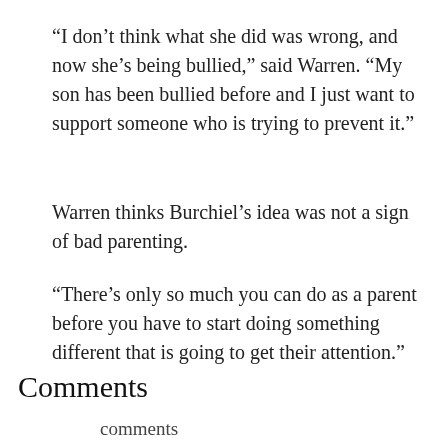“I don’t think what she did was wrong, and now she’s being bullied,” said Warren. “My son has been bullied before and I just want to support someone who is trying to prevent it.”
Warren thinks Burchiel’s idea was not a sign of bad parenting.
“There’s only so much you can do as a parent before you have to start doing something different that is going to get their attention.”
Comments
comments